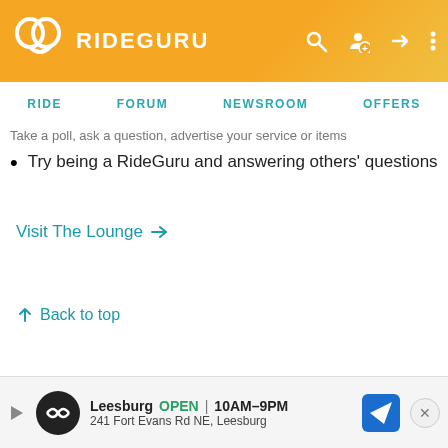RIDEGURU — navigation: RIDE, FORUM, NEWSROOM, OFFERS
Take a poll, ask a question, advertise your service or items
Try being a RideGuru and answering others' questions
Visit The Lounge →
↑ Back to top
[Figure (screenshot): Advertisement banner: Leesburg OPEN 10AM–9PM, 241 Fort Evans Rd NE, Leesburg]